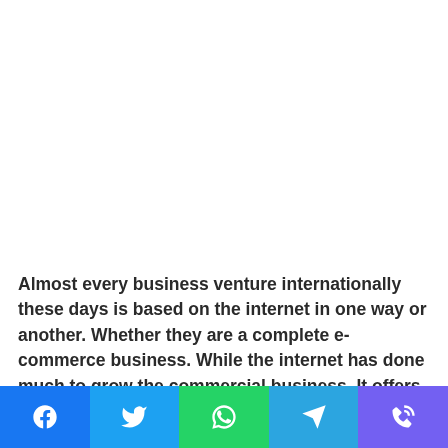Almost every business venture internationally these days is based on the internet in one way or another. Whether they are a complete e-commerce business. While the internet has done much to grow the commercial business. It offers one key snag: cyber threats.
[Figure (other): Social sharing bar with five buttons: Facebook (blue), Twitter (light blue), WhatsApp (green), Telegram (sky blue), Viber (purple)]